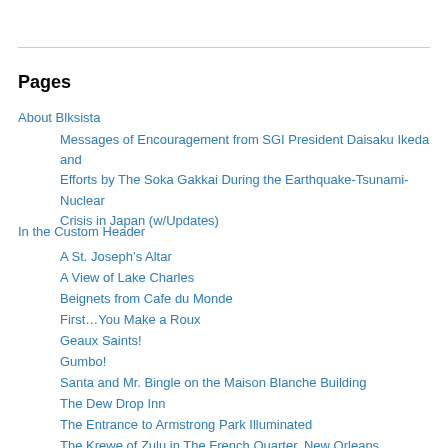Pages
About Blksista
Messages of Encouragement from SGI President Daisaku Ikeda and Efforts by The Soka Gakkai During the Earthquake-Tsunami-Nuclear Crisis in Japan (w/Updates)
In the Custom Header
A St. Joseph's Altar
A View of Lake Charles
Beignets from Cafe du Monde
First…You Make a Roux
Geaux Saints!
Gumbo!
Santa and Mr. Bingle on the Maison Blanche Building
The Dew Drop Inn
The Entrance to Armstrong Park Illuminated
The Krewe of Zulu in The French Quarter, New Orleans